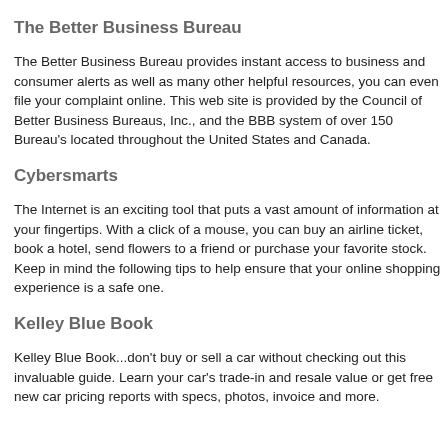your consumer rights.
The Better Business Bureau
The Better Business Bureau provides instant access to business and consumer alerts as well as many other helpful resources, you can even file your complaint online. This web site is provided by the Council of Better Business Bureaus, Inc., and the BBB system of over 150 Bureau's located throughout the United States and Canada.
Cybersmarts
The Internet is an exciting tool that puts a vast amount of information at your fingertips. With a click of a mouse, you can buy an airline ticket, book a hotel, send flowers to a friend or purchase your favorite stock. Keep in mind the following tips to help ensure that your online shopping experience is a safe one.
Kelley Blue Book
Kelley Blue Book...don't buy or sell a car without checking out this invaluable guide. Learn your car's trade-in and resale value or get free new car pricing reports with specs, photos, invoice and more.